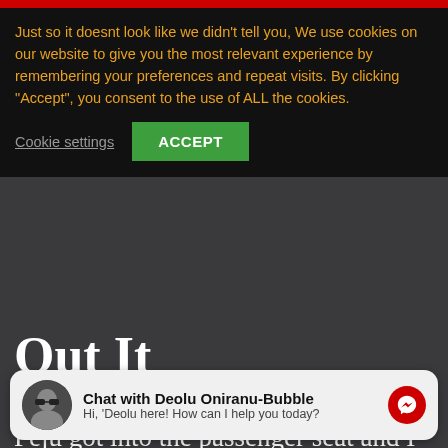[Figure (screenshot): Website cookie consent banner overlay on a dark-themed blog article page. Red bar at top, orange/yellow text about cookies, green Accept button, Cookie settings link.]
Just so it doesnt look like we didn't tell you, We use cookies on our website to give you the most relevant experience by remembering your preferences and repeat visits. By clicking “Accept”, you consent to the use of ALL the cookies.
Cookie settings   ACCEPT
Out It
by Dr. Deolu Oniranu-Bubble – May 6, 2016 – 7 min read
Peju got into the passenger seat and I got into the driver seat beside her and started the engine. I couldn’t find Dayo or Mide so I sent whatsapp
was heading back to the house. I told
[Figure (infographic): Facebook Messenger chat widget at the bottom. Shows avatar of Deolu Oniranu-Bubble with sunglasses, name 'Chat with Deolu Oniranu-Bubble', subtitle 'Hi, 'Deolu here! How can I help you today?', and red Messenger icon button.]